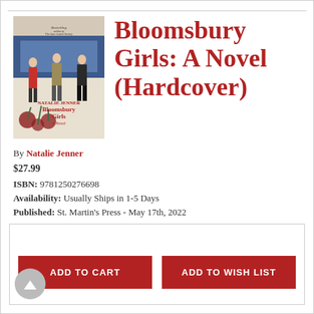[Figure (illustration): Book cover of 'Bloomsbury Girls: A Novel' by Natalie Jenner, showing three women walking and floral design]
Bloomsbury Girls: A Novel (Hardcover)
By Natalie Jenner
$27.99
ISBN: 9781250276698
Availability: Usually Ships in 1-5 Days
Published: St. Martin's Press - May 17th, 2022